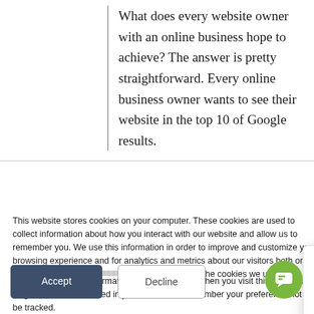What does every website owner with an online business hope to achieve? The answer is pretty straightforward. Every online business owner wants to see their website in the top 10 of Google results.
This website stores cookies on your computer. These cookies are used to collect information about how you interact with our website and allow us to remember you. We use this information in order to improve and customize your browsing experience and for analytics and metrics about our visitors both on this website and [truncated by popup] the cookies we use,
If you decline, your i[nformation won't be tracked] when you visit this w[ebsite]. A single cookie [will be] used in your browse[r to remember your preference] not to be tracked.
[Figure (infographic): Chat popup window with a person icon (accessibility figure in green/yellow), an X close button, and text reading: Any questions or requests? I can schedule time with a human right now, or send in your question!]
Any questions or requests? I can schedule time with a human right now, or send in your question!
Accept
Decline